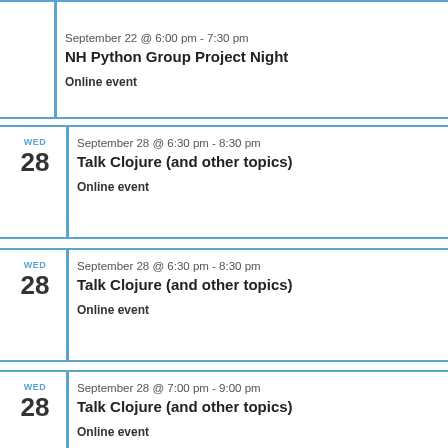September 22 @ 6:00 pm - 7:30 pm
NH Python Group Project Night
Online event
WED 28
September 28 @ 6:30 pm - 8:30 pm
Talk Clojure (and other topics)
Online event
WED 28
September 28 @ 6:30 pm - 8:30 pm
Talk Clojure (and other topics)
Online event
WED 28
September 28 @ 7:00 pm - 9:00 pm
Talk Clojure (and other topics)
Online event